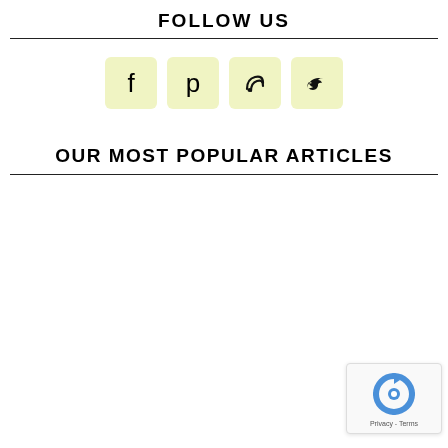FOLLOW US
[Figure (infographic): Four social media icon buttons with light yellow-green background: Facebook (f), Pinterest (p), RSS feed, Twitter (bird)]
OUR MOST POPULAR ARTICLES
[Figure (other): reCAPTCHA badge with Google logo and Privacy - Terms text]